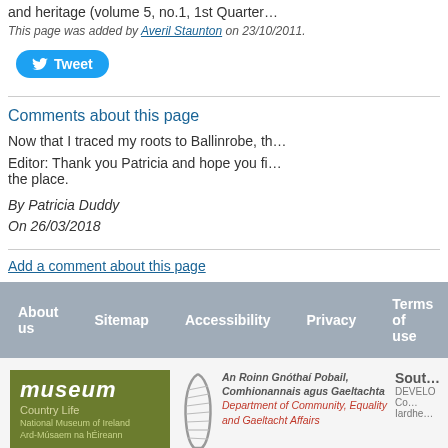and heritage (volume 5, no.1, 1st Quarter…
This page was added by Averil Staunton on 23/10/2011.
[Figure (other): Twitter Tweet button]
Comments about this page
Now that I traced my roots to Ballinrobe, th…
Editor: Thank you Patricia and hope you fi… the place.
By Patricia Duddy
On 26/03/2018
Add a comment about this page
About us  Sitemap  Accessibility  Privacy  Terms of use
[Figure (logo): Museum National Museum of Ireland Country Life logo]
[Figure (logo): An Roinn Gnóthaí Pobail, Comhionannais agus Gaeltachta – Department of Community, Equality and Gaeltacht Affairs logo with harp]
[Figure (logo): South/Southern Development partial logo]